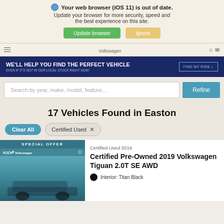Your web browser (iOS 11) is out of date. Update your browser for more security, speed and the best experience on this site.
Update browser | Ignore
[Figure (screenshot): Navigation bar with hamburger menu, Volkswagen logo]
[Figure (screenshot): Blue promotional banner: WE'LL HELP YOU FIND THE PERFECT VEHICLE - EVEN IF IT'S NOT IN OUR LOCAL STOCK RIGHT NOW! with FIND MY RIDE button]
Search by year, make, model, feature...
Refine
17 Vehicles Found in Easton
Clear All
Certified Used ×
SPECIAL OFFER
Certified Used 2019
Certified Pre-Owned 2019 Volkswagen Tiguan 2.0T SE AWD
Interior: Titan Black